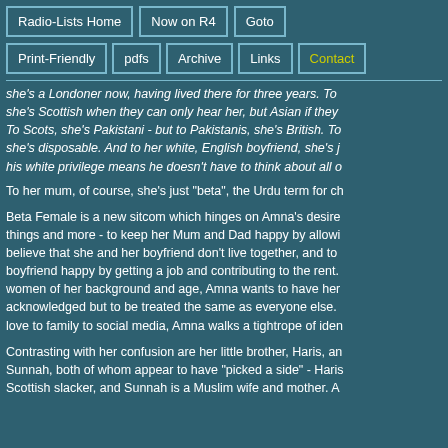Radio-Lists Home | Now on R4 | Goto | Print-Friendly | pdfs | Archive | Links | Contact
she's a Londoner now, having lived there for three years. To she's Scottish when they can only hear her, but Asian if they To Scots, she's Pakistani - but to Pakistanis, she's British. To she's disposable. And to her white, English boyfriend, she's j his white privilege means he doesn't have to think about all o
To her mum, of course, she's just "beta", the Urdu term for ch
Beta Female is a new sitcom which hinges on Amna's desire things and more - to keep her Mum and Dad happy by allowi believe that she and her boyfriend don't live together, and to boyfriend happy by getting a job and contributing to the rent. women of her background and age, Amna wants to have her acknowledged but to be treated the same as everyone else. love to family to social media, Amna walks a tightrope of iden
Contrasting with her confusion are her little brother, Haris, an Sunnah, both of whom appear to have "picked a side" - Haris Scottish slacker, and Sunnah is a Muslim wife and mother. A